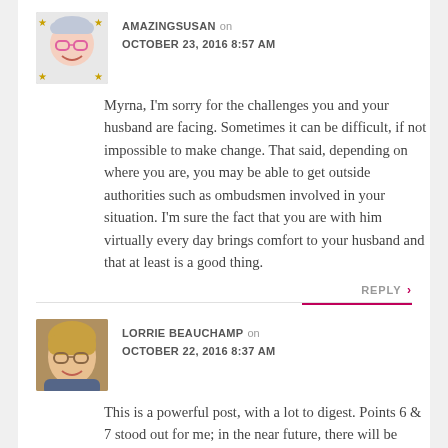AMAZINGSUSAN on OCTOBER 23, 2016 8:57 AM
Myrna, I'm sorry for the challenges you and your husband are facing. Sometimes it can be difficult, if not impossible to make change. That said, depending on where you are, you may be able to get outside authorities such as ombudsmen involved in your situation. I'm sure the fact that you are with him virtually every day brings comfort to your husband and that at least is a good thing.
REPLY >
LORRIE BEAUCHAMP on OCTOBER 22, 2016 8:37 AM
This is a powerful post, with a lot to digest. Points 6 & 7 stood out for me; in the near future, there will be many businesses